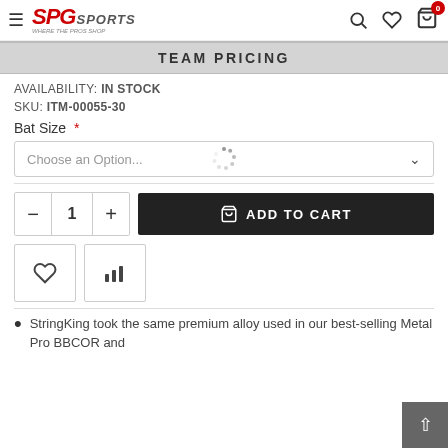SPG Sports - Where The Pros Shop
TEAM PRICING
AVAILABILITY: IN STOCK
SKU: ITM-00055-30
Bat Size *
Choose an Option...
1  ADD TO CART
StringKing took the same premium alloy used in our best-selling Metal Pro BBCOR and